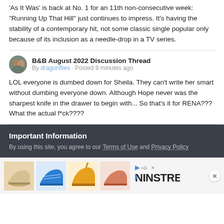'As It Was' is back at No. 1 for an 11th non-consecutive week:  "Running Up That Hill" just continues to impress. It's having the stability of a contemporary hit, not some classic single popular only because of its inclusion as a needle-drop in a TV series.
B&B August 2022 Discussion Thread
By dragonflies · Posted 9 minutes ago
LOL everyone is dumbed down for Sheila. They can't write her smart without dumbing everyone down. Although Hope never was the sharpest knife in the drawer to begin with... So that's it for RENA??? What the actual f*ck????
Important Information
By using this site, you agree to our Terms of Use and Privacy Policy
[Figure (advertisement): Ninstree shoe advertisement banner with four shoe images]